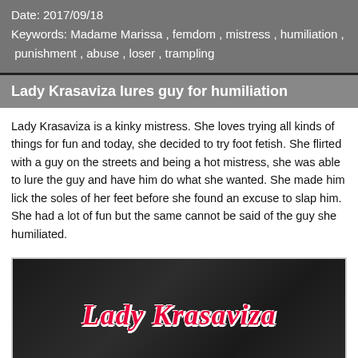Date: 2017/09/18
Keywords: Madame Marissa , femdom , mistress , humiliation , punishment , abuse , loser , trampling
Lady Krasaviza lures guy for humiliation
Lady Krasaviza is a kinky mistress. She loves trying all kinds of things for fun and today, she decided to try foot fetish. She flirted with a guy on the streets and being a hot mistress, she was able to lure the guy and have him do what she wanted. She made him lick the soles of her feet before she found an excuse to slap him. She had a lot of fun but the same cannot be said of the guy she humiliated.
[Figure (photo): Image with cursive text overlay reading 'Lady Krasaviza' in red/pink on a dark background]